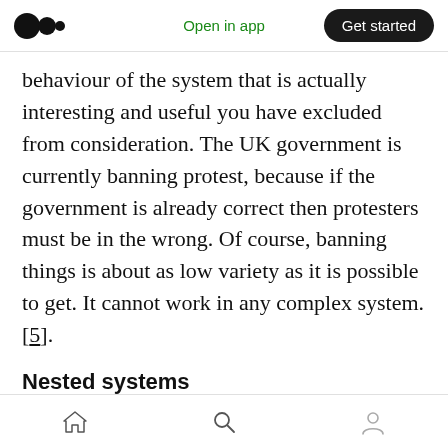Medium logo | Open in app | Get started
behaviour of the system that is actually interesting and useful you have excluded from consideration. The UK government is currently banning protest, because if the government is already correct then protesters must be in the wrong. Of course, banning things is about as low variety as it is possible to get. It cannot work in any complex system.[5].
Nested systems
The least understood concept in systems is that an enclosed system, subsystem if you like, has
Home | Search | Profile